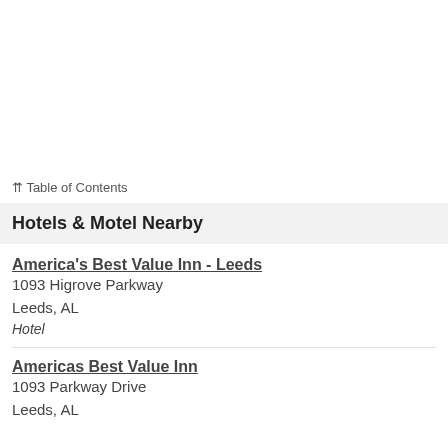⇈ Table of Contents
Hotels & Motel Nearby
America's Best Value Inn - Leeds
1093 Higrove Parkway
Leeds, AL
Hotel
Americas Best Value Inn
1093 Parkway Drive
Leeds, AL